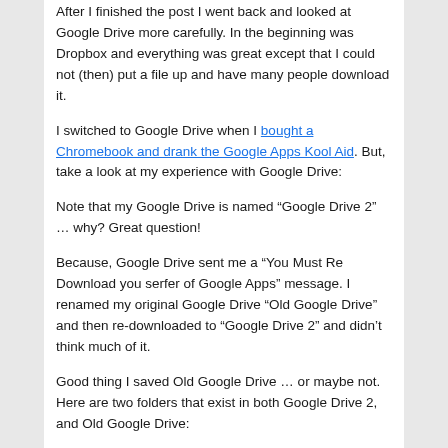After I finished the post I went back and looked at Google Drive more carefully. In the beginning was Dropbox and everything was great except that I could not (then) put a file up and have many people download it.
I switched to Google Drive when I bought a Chromebook and drank the Google Apps Kool Aid. But, take a look at my experience with Google Drive:
Note that my Google Drive is named “Google Drive 2” … why? Great question!
Because, Google Drive sent me a “You Must Re Download you serfer of Google Apps” message. I renamed my original Google Drive “Old Google Drive” and then re-downloaded to “Google Drive 2” and didn’t think much of it.
Good thing I saved Old Google Drive … or maybe not. Here are two folders that exist in both Google Drive 2, and Old Google Drive: